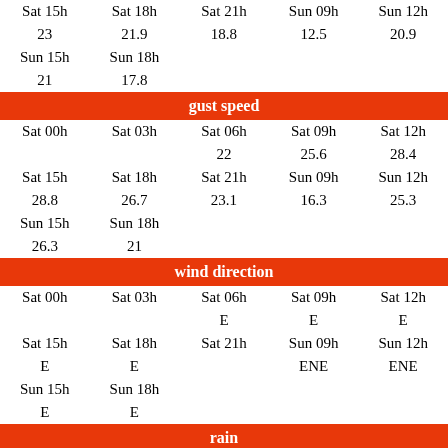| Sat 15h | Sat 18h | Sat 21h | Sun 09h | Sun 12h |
| 23 | 21.9 | 18.8 | 12.5 | 20.9 |
| Sun 15h | Sun 18h |  |  |  |
| 21 | 17.8 |  |  |  |
gust speed
| Sat 00h | Sat 03h | Sat 06h | Sat 09h | Sat 12h |
|  |  | 22 | 25.6 | 28.4 |
| Sat 15h | Sat 18h | Sat 21h | Sun 09h | Sun 12h |
| 28.8 | 26.7 | 23.1 | 16.3 | 25.3 |
| Sun 15h | Sun 18h |  |  |  |
| 26.3 | 21 |  |  |  |
wind direction
| Sat 00h | Sat 03h | Sat 06h | Sat 09h | Sat 12h |
|  |  | E | E | E |
| Sat 15h | Sat 18h | Sat 21h | Sun 09h | Sun 12h |
| E | E |  | ENE | ENE |
| Sun 15h | Sun 18h |  |  |  |
| E | E |  |  |  |
rain
| Sat 00h | Sat 03h | Sat 06h | Sat 09h | Sat 12h |